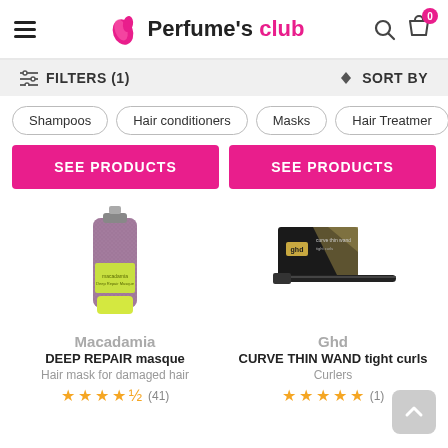Perfume's club — navigation header with hamburger menu, logo, search and cart icons
FILTERS (1)   SORT BY
Shampoos
Hair conditioners
Masks
Hair Treatments
SEE PRODUCTS
SEE PRODUCTS
[Figure (photo): Macadamia Deep Repair Masque product tube with glittery purple finish and yellow cap]
[Figure (photo): Ghd Curve Thin Wand tight curls curling iron with black box packaging]
Macadamia
DEEP REPAIR masque
Hair mask for damaged hair
★★★★½ (41)
Ghd
CURVE THIN WAND tight curls
Curlers
★★★★★ (1)